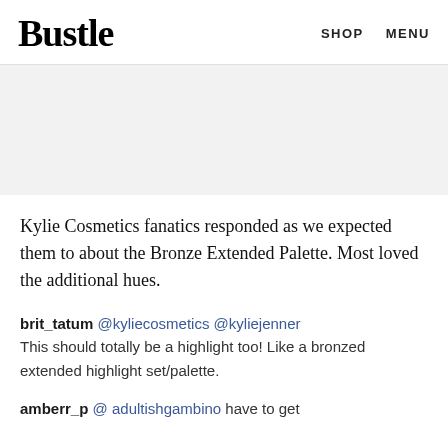Bustle   SHOP   MENU
[Figure (other): Gray placeholder image area]
Kylie Cosmetics fanatics responded as we expected them to about the Bronze Extended Palette. Most loved the additional hues.
brit_tatum @kyliecosmetics @kyliejenner This should totally be a highlight too! Like a bronzed extended highlight set/palette.
amberr_p @ adultishgambino have to get